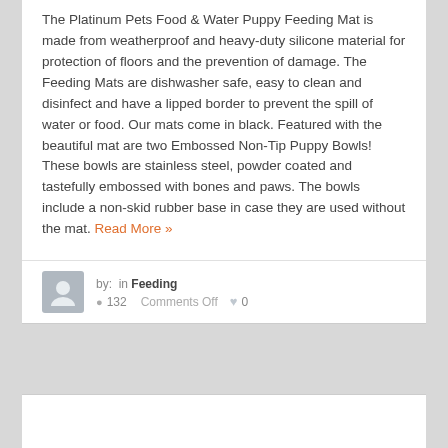The Platinum Pets Food & Water Puppy Feeding Mat is made from weatherproof and heavy-duty silicone material for protection of floors and the prevention of damage. The Feeding Mats are dishwasher safe, easy to clean and disinfect and have a lipped border to prevent the spill of water or food. Our mats come in black. Featured with the beautiful mat are two Embossed Non-Tip Puppy Bowls! These bowls are stainless steel, powder coated and tastefully embossed with bones and paws. The bowls include a non-skid rubber base in case they are used without the mat. Read More »
by: in Feeding  132  Comments Off  0